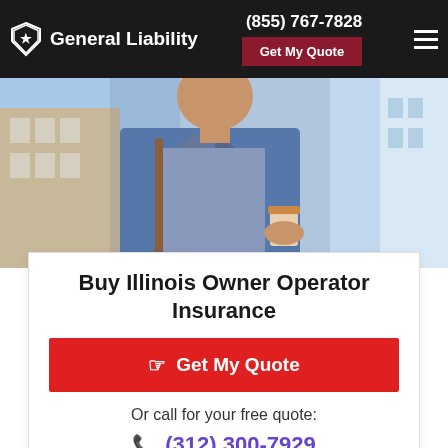General Liability | (855) 767-7828 | Get My Quote
[Figure (photo): Man in denim jacket holding a coffee cup, standing outdoors with a blue sky background]
Buy Illinois Owner Operator Insurance
Get My Quote
Or call for your free quote:
(312) 300-7929
Get the best IL small business insurance quotes